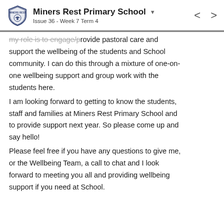Miners Rest Primary School — Issue 36 - Week 7 Term 4
my role is to engage/provide pastoral care and support the wellbeing of the students and School community. I can do this through a mixture of one-on-one wellbeing support and group work with the students here.
I am looking forward to getting to know the students, staff and families at Miners Rest Primary School and to provide support next year. So please come up and say hello!
Please feel free if you have any questions to give me, or the Wellbeing Team, a call to chat and I look forward to meeting you all and providing wellbeing support if you need at School.